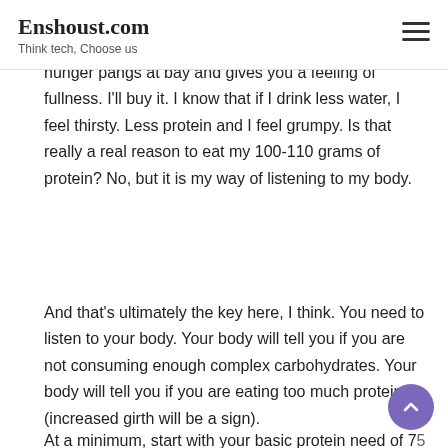Enshoust.com
Think tech, Choose us
hunger pangs at bay and gives you a feeling of fullness. I'll buy it. I know that if I drink less water, I feel thirsty. Less protein and I feel grumpy. Is that really a real reason to eat my 100-110 grams of protein? No, but it is my way of listening to my body.
And that's ultimately the key here, I think. You need to listen to your body. Your body will tell you if you are not consuming enough complex carbohydrates. Your body will tell you if you are eating too much protein (increased girth will be a sign).
At a minimum, start with your basic protein need of 75 grams and add 50%; then evaluate how it responds